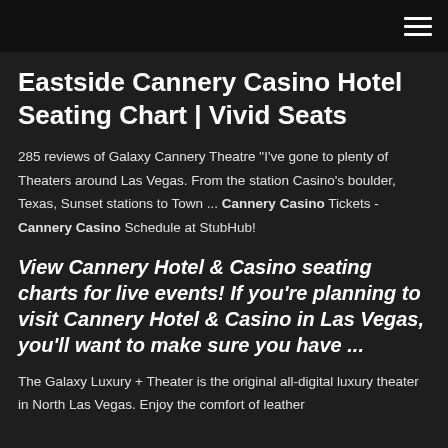Eastside Cannery Casino Hotel Seating Chart | Vivid Seats
285 reviews of Galaxy Cannery Theatre "I've gone to plenty of Theaters around Las Vegas. From the station Casino's boulder, Texas, Sunset stations to Town ... Cannery Casino Tickets - Cannery Casino Schedule at StubHub!
View Cannery Hotel & Casino seating charts for live events! If you're planning to visit Cannery Hotel & Casino in Las Vegas, you'll want to make sure you have ...
The Galaxy Luxury + Theater is the original all-digital luxury theater in North Las Vegas. Enjoy the comfort of leather